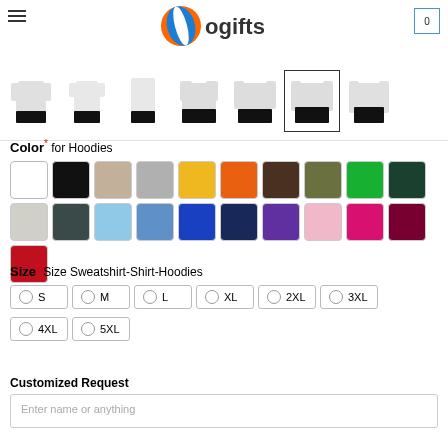[Figure (screenshot): E-commerce product page for Wogifts hoodies showing navigation header with hamburger menu, Wogifts logo, and cart icon. Below are garment thumbnail images for different hoodie/shirt styles. One thumbnail is selected (highlighted with border).]
Color* for Hoodies
[Figure (infographic): Color swatches grid: Row 1: white, black, tan/beige, light gray, gold/yellow, orange, dark brown, olive green, bright green, dark green, light gray-2. Row 2: dark slate gray, light blue, medium blue, bright blue, navy, purple, light pink, hot pink, maroon/dark red, red.]
Size* Size Sweatshirt-Shirt-Hoodies
S M L XL 2XL 3XL 4XL 5XL
Customized Request
Enter name or anything